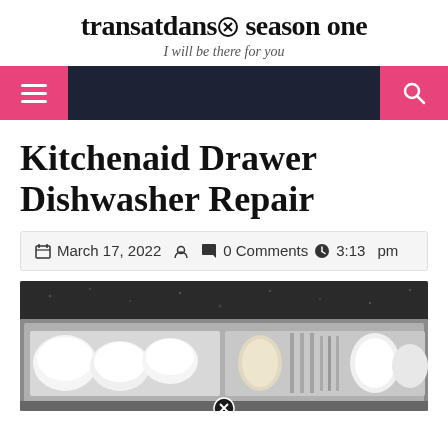transatdans season one
I will be there for you
Kitchenaid Drawer Dishwasher Repair
March 17, 2022   0 Comments   3:13 pm
[Figure (photo): Open drawer dishwasher loaded with white bowls and dishes, under a dark granite countertop]